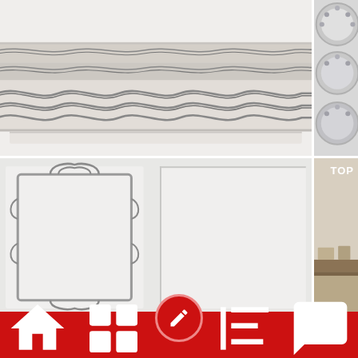[Figure (photo): Four-panel image grid showing decorative marble/stone tiles and panels. Top-left: close-up of stacked stone border tiles with wave/ribbon pattern in white marble with grey veining. Top-right: partially visible circular mirrors or medallions with silver/chrome decorative frames. Bottom-left: white cabinet door or panel with ornate grey decorative frame/mirror overlay. Bottom-right: partial view of a room interior with wooden table visible.]
Home    Products    [center button]    News    Contact